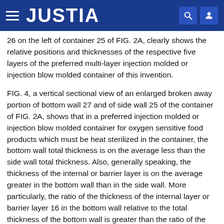JUSTIA
26 on the left of container 25 of FIG. 2A, clearly shows the relative positions and thicknesses of the respective five layers of the preferred multi-layer injection molded or injection blow molded container of this invention.
FIG. 4, a vertical sectional view of an enlarged broken away portion of bottom wall 27 and of side wall 25 of the container of FIG. 2A, shows that in a preferred injection molded or injection blow molded container for oxygen sensitive food products which must be heat sterilized in the container, the bottom wall total thickness is on the average less than the side wall total thickness. Also, generally speaking, the thickness of the internal or barrier layer is on the average greater in the bottom wall than in the side wall. More particularly, the ratio of the thickness of the internal layer or barrier layer 16 in the bottom wall relative to the total thickness of the bottom wall is greater than the ratio of the thickness of the